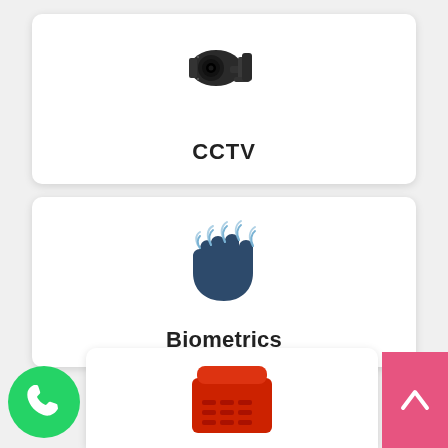[Figure (illustration): White card with a CCTV bullet camera icon (dark/black) and bold label CCTV below it]
[Figure (illustration): White card with a hand/biometrics icon in dark blue with light blue fingerprint waves at fingertips, and bold label Biometrics below it]
[Figure (illustration): Green WhatsApp circular button icon in bottom-left corner]
[Figure (illustration): Partial view of a red desk/office telephone icon in a white card at the bottom center]
[Figure (illustration): Pink/rose scroll-to-top button with an upward chevron arrow in bottom-right corner]